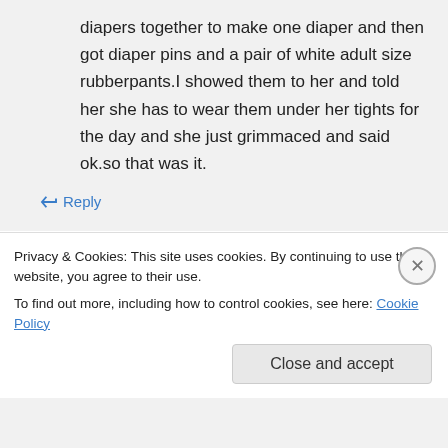diapers together to make one diaper and then got diaper pins and a pair of white adult size rubberpants.I showed them to her and told her she has to wear them under her tights for the day and she just grimmaced and said ok.so that was it.
↳ Reply
clarice a. on December 8, 2016 at 6:09 am
Privacy & Cookies: This site uses cookies. By continuing to use this website, you agree to their use.
To find out more, including how to control cookies, see here: Cookie Policy
Close and accept